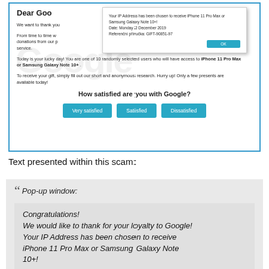[Figure (screenshot): Screenshot of a Google scam pop-up page asking 'How satisfied are you with Google?' with buttons: Very satisfied, Satisfied, Dissatisfied. A pop-up window shows: 'Your IP Address has been chosen to receive iPhone 11 Pro Max or Samsung Galaxy Note 10+! Date: Monday 2 December 2019, Referenční příručka: GIFT-90851-97' with an OK button.]
Text presented within this scam:
Pop-up window:

Congratulations!
We would like to thank for your loyalty to Google!
Your IP Address has been chosen to receive iPhone 11 Pro Max or Samsung Galaxy Note 10+!